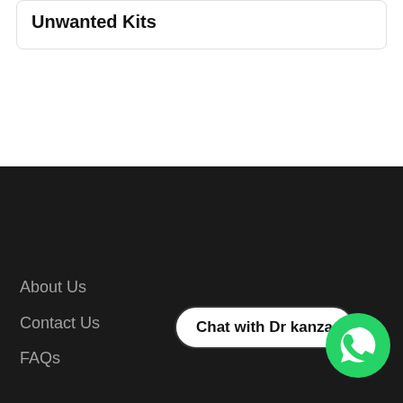Unwanted Kits
About Us
Contact Us
FAQs
Chat with Dr kanza